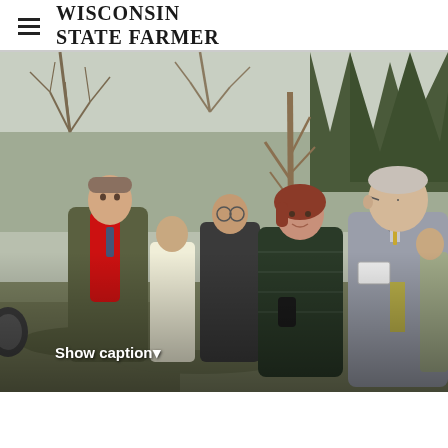WISCONSIN STATE FARMER
[Figure (photo): Group of people standing outdoors near a young tree in a winter/early spring setting. A man in a long olive coat with a red scarf stands on the left. A woman in a dark green puffer jacket holds the tree. An older man in a grey suit with a name badge stands on the right. Additional people are visible in the background. Trees with bare branches are in the background.]
Show caption▾